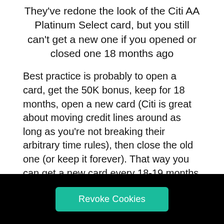They've redone the look of the Citi AA Platinum Select card, but you still can't get a new one if you opened or closed one 18 months ago
Best practice is probably to open a card, get the 50K bonus, keep for 18 months, open a new card (Citi is great about moving credit lines around as long as you're not breaking their arbitrary time rules), then close the old one (or keep it forever). That way you can get a new card every 18-19 months or so. I haven't tried it personally but that's what makes most sense to me (let me know in the comments if you've been successful or otherwise
Revoke Cookies